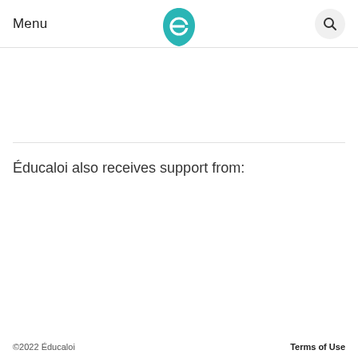Menu
[Figure (logo): Éducaloi teal leaf/shield logo with stylized 'e' letterform]
Éducaloi also receives support from:
©2022 Éducaloi    Terms of Use